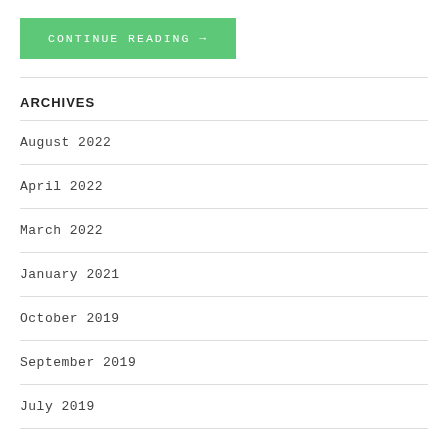CONTINUE READING →
ARCHIVES
August 2022
April 2022
March 2022
January 2021
October 2019
September 2019
July 2019